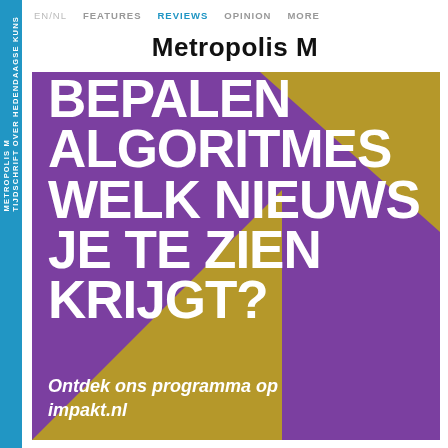EN/NL  FEATURES  REVIEWS  OPINION  MORE
Metropolis M
[Figure (illustration): Advertisement image with purple background and gold/olive triangular shapes. Large white uppercase text reads: BEPALEN ALGORITMES WELK NIEUWS JE TE ZIEN KRIJGT? White italic text below reads: Ontdek ons programma op impakt.nl]
METROPOLIS M   TIJDSCHRIFT OVER HEDENDAAGSE KUNS